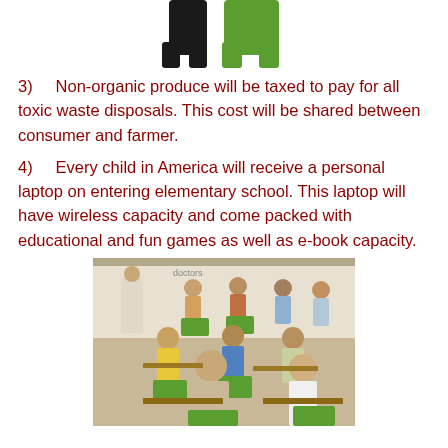[Figure (illustration): Top portion of a green and black icon/illustration, partially cropped at the top of the page]
3)   Non-organic produce will be taxed to pay for all toxic waste disposals. This cost will be shared between consumer and farmer.
4)   Every child in America will receive a personal laptop on entering elementary school. This laptop will have wireless capacity and come packed with educational and fun games as well as e-book capacity.
[Figure (photo): Children sitting at desks in a classroom, each working with green laptops/tablets. Multiple rows of young students visible.]